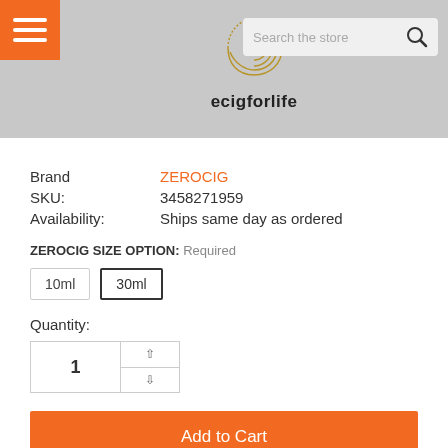ecigforlife - Search the store
Brand: ZEROCIG
SKU: 3458271959
Availability: Ships same day as ordered
ZEROCIG SIZE OPTION: Required
10ml  30ml
Quantity: 1
Add to Cart
Add to Wish List